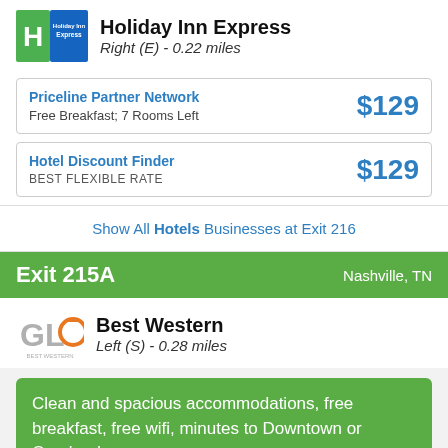[Figure (logo): Holiday Inn Express logo]
Holiday Inn Express
Right (E) - 0.22 miles
| Provider | Detail | Price |
| --- | --- | --- |
| Priceline Partner Network | Free Breakfast; 7 Rooms Left | $129 |
| Hotel Discount Finder | BEST FLEXIBLE RATE | $129 |
Show All Hotels Businesses at Exit 216
Exit 215A    Nashville, TN
[Figure (logo): GLO Best Western logo]
Best Western
Left (S) - 0.28 miles
Clean and spacious accommodations, free breakfast, free wifi, minutes to Downtown or Opryland